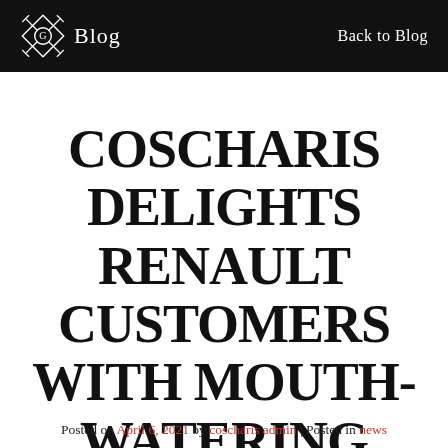Blog  Back to Blog
COSCHARIS DELIGHTS RENAULT CUSTOMERS WITH MOUTH-WATERING EASTER GIVEAWAYS
Posted on April 6, 2021 by coscharis admin | Posted in news